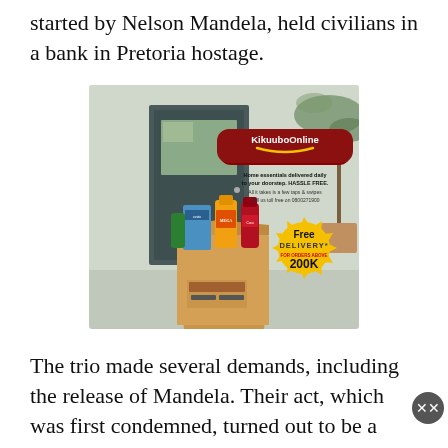started by Nelson Mandela, held civilians in a bank in Pretoria hostage.
[Figure (photo): Advertisement for KikuuboOnline showing a cardboard box with household products (Zesti, cooking oil, Coca-Cola, etc.) in front of a door. Text reads: 'KikuuboOnline - Home essentials delivered daily to your doorstep, HASSLE FREE. All it takes is a few taps & swipes. Call us toll free on 0800271900'. Yellow starburst badge: 'Free DELIVERY* FOR ORDERS ABOVE 200K'.]
The trio made several demands, including the release of Mandela. Their act, which was first condemned, turned out to be a